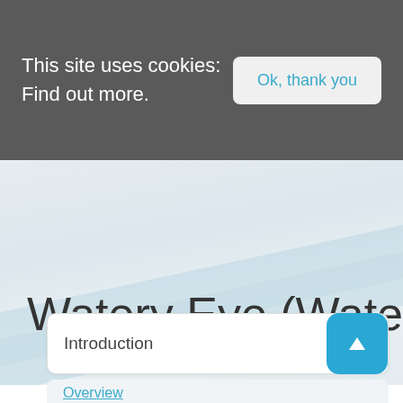This site uses cookies: Find out more.
Watery Eye (Watering Eye
Introduction
Overview